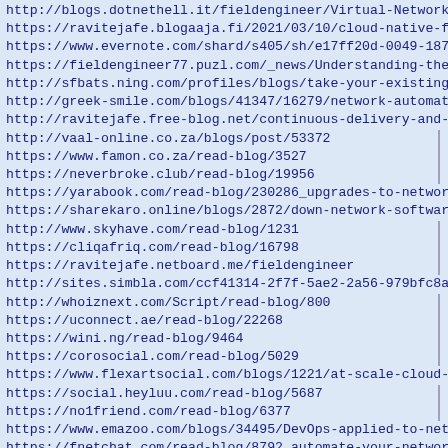http://blogs.dotnethell.it/fieldengineer/Virtual-Network-Fu
https://ravitejafe.blogaaja.fi/2021/03/10/cloud-native-func
https://www.evernote.com/shard/s405/sh/e17ff20d-0049-1876-0
https://fieldengineer77.puzl.com/_news/Understanding-the-ne
http://sfbats.ning.com/profiles/blogs/take-your-existing-ne
http://greek-smile.com/blogs/41347/16279/network-automation
http://ravitejafe.free-blog.net/continuous-delivery-and-dep
http://vaal-online.co.za/blogs/post/53372
https://www.famon.co.za/read-blog/3527
https://neverbroke.club/read-blog/19956
https://yarabook.com/read-blog/230286_upgrades-to-network-s
https://sharekaro.online/blogs/2872/down-network-software-w
http://www.skyhave.com/read-blog/1231
https://cliqafriq.com/read-blog/16798
https://ravitejafe.netboard.me/fieldengineer
http://sites.simbla.com/ccf41314-2f7f-5ae2-2a56-979bfc8aba8
http://whoiznext.com/Script/read-blog/800
https://uconnect.ae/read-blog/22268
https://wini.ng/read-blog/9464
https://corosocial.com/read-blog/5029
https://www.flexartsocial.com/blogs/1221/at-scale-cloud-nat
https://social.heyluu.com/read-blog/5687
https://no1friend.com/read-blog/6377
https://www.emazoo.com/blogs/34495/DevOps-applied-to-networ
https://fnetchat.com/read-blog/8792_automate-your-network-f
https://penzu.com/p/003b2c41
https://webhitlist.com/profiles/blogs/improving-operational
http://spa2014.trnava-vuc.sk/web/ravitejafe/home/-/blogs/dr
https://www.onfeetnation.com/profiles/blogs/what-are-the-be
http://downloadportal.oase-livingwater.com/web/fieldengine